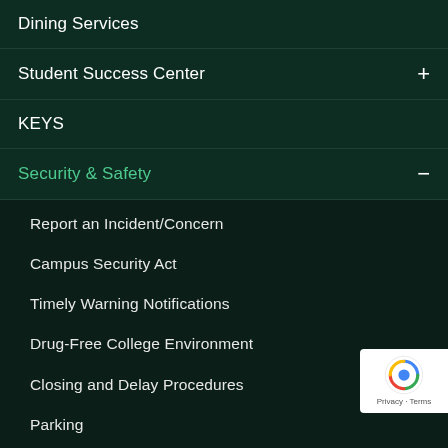Dining Services
Student Success Center
KEYS
Security & Safety
Report an Incident/Concern
Campus Security Act
Timely Warning Notifications
Drug-Free College Environment
Closing and Delay Procedures
Parking
PEAK txt
Security & Safety Tips
Sexual Harassment Policy
Coronavirus Information
Virtual Lobby